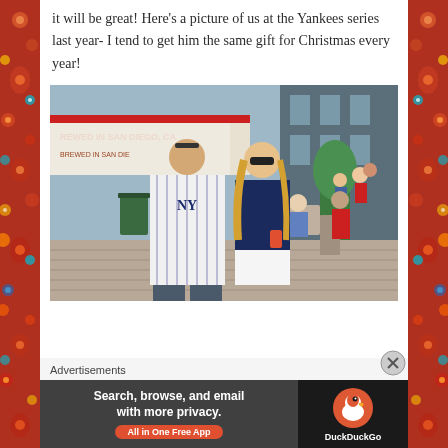it will be great! Here’s a picture of us at the Yankees series last year- I tend to get him the same gift for Christmas every year!
[Figure (photo): A couple posing outside a baseball stadium. The man is wearing a New York Yankees pinstripe jersey and the woman is wearing a navy tank top and white skirt with sunglasses. Background shows stadium concourse area with tables, chairs, and a beer vendor tent reading 'Brewed in San Diego, CA'.]
Advertisements
[Figure (screenshot): DuckDuckGo advertisement banner. Left side dark background with text 'Search, browse, and email with more privacy. All in One Free App'. Right side shows DuckDuckGo logo (duck icon) and brand name on dark background.]